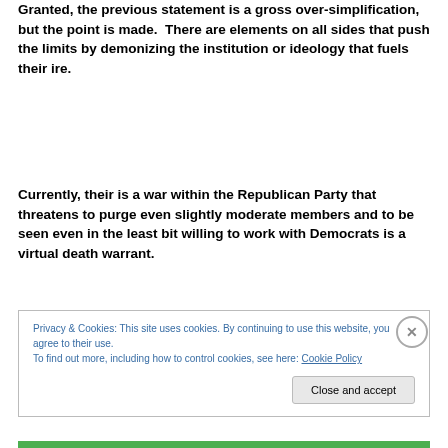Granted, the previous statement is a gross over-simplification, but the point is made.  There are elements on all sides that push the limits by demonizing the institution or ideology that fuels their ire.
Currently, their is a war within the Republican Party that threatens to purge even slightly moderate members and to be seen even in the least bit willing to work with Democrats is a virtual death warrant.
Privacy & Cookies: This site uses cookies. By continuing to use this website, you agree to their use.
To find out more, including how to control cookies, see here: Cookie Policy
[Close and accept]